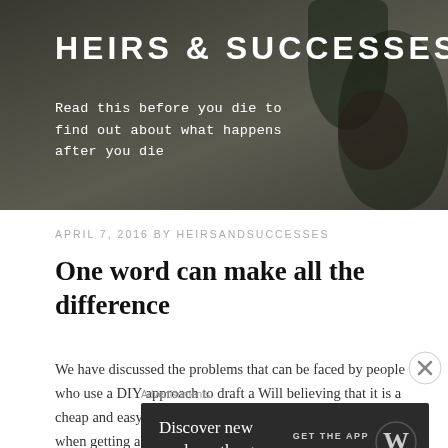HEIRS & SUCCESSES
Read this before you die to find out about what happens after you die
APRIL 7, 2016 BY HEIRSANDSUCCESSES
One word can make all the difference
We have discussed the problems that can be faced by people who use a DIY approach to draft a Will believing that it is a cheap and easy solution, compared to the price that you pay when getting a lawyer to draft a Will. In a recent case the beneficiaries of a Will drafted by a
[Figure (screenshot): Advertisement banner: dark background with text 'Discover new reads on the go.' and 'GET THE APP' with WordPress logo]